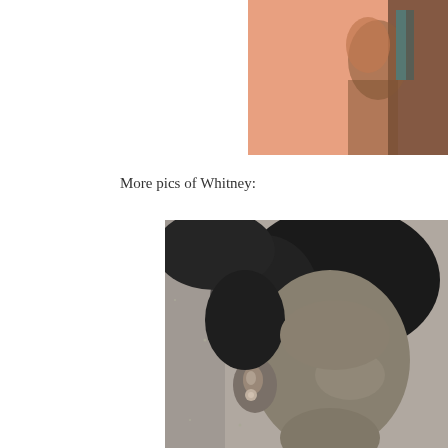[Figure (photo): Partial color photo visible in upper right corner with salmon/peach background, showing part of a person]
More pics of Whitney:
[Figure (photo): Black and white close-up photograph of a person's face and head, showing dark curly hair, an ear with an earring, and partial facial features]